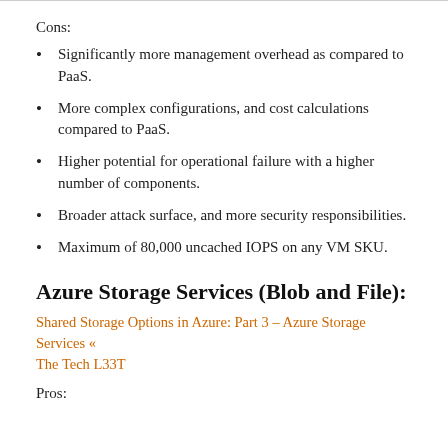Cons:
Significantly more management overhead as compared to PaaS.
More complex configurations, and cost calculations compared to PaaS.
Higher potential for operational failure with a higher number of components.
Broader attack surface, and more security responsibilities.
Maximum of 80,000 uncached IOPS on any VM SKU.
Azure Storage Services (Blob and File):
Shared Storage Options in Azure: Part 3 – Azure Storage Services « The Tech L33T
Pros: